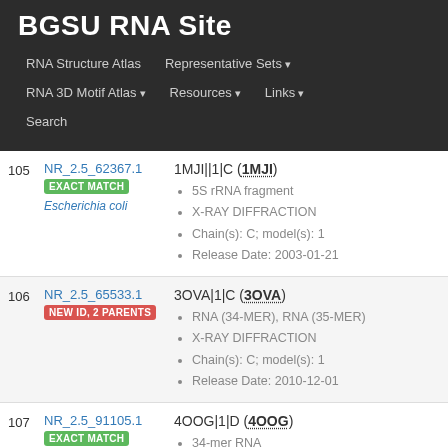BGSU RNA Site — navigation bar with: RNA Structure Atlas, Representative Sets, RNA 3D Motif Atlas, Resources, Links, Search
| # | ID / Badge / Species | Entry Details |
| --- | --- | --- |
| 105 | NR_2.5_62367.1 / EXACT MATCH / Escherichia coli | 1MJI||1|C (1MJI) • 5S rRNA fragment • X-RAY DIFFRACTION • Chain(s): C; model(s): 1 • Release Date: 2003-01-21 |
| 106 | NR_2.5_65533.1 / NEW ID, 2 PARENTS | 3OVA|1|C (3OVA) • RNA (34-MER), RNA (35-MER) • X-RAY DIFFRACTION • Chain(s): C; model(s): 1 • Release Date: 2010-12-01 |
| 107 | NR_2.5_91105.1 / EXACT MATCH | 4OOG|1|D (4OOG) • 34-mer RNA • X-RAY DIFFRACTION |